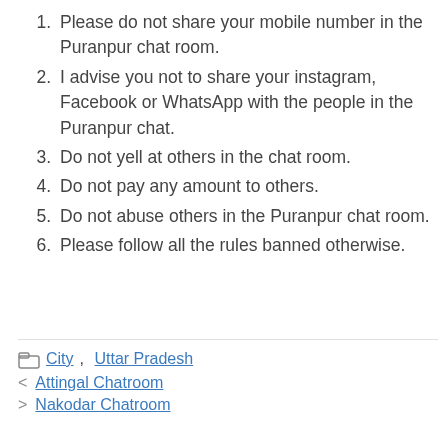Please do not share your mobile number in the Puranpur chat room.
I advise you not to share your instagram, Facebook or WhatsApp with the people in the Puranpur chat.
Do not yell at others in the chat room.
Do not pay any amount to others.
Do not abuse others in the Puranpur chat room.
Please follow all the rules banned otherwise.
City, Uttar Pradesh
< Attingal Chatroom
> Nakodar Chatroom